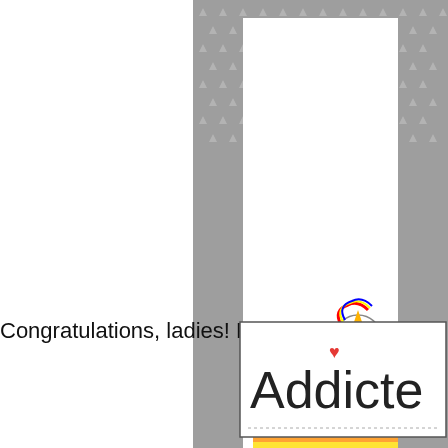[Figure (photo): A greeting card featuring a cartoon unicorn character sitting on a rainbow, with text 'Smi...' visible, against a grey background with white triangle pattern. The card is white with the character partially visible.]
Congratulations, ladies! Please t
[Figure (logo): Partially visible logo reading 'Addicte' with a small red heart above the letter 'i', shown in a bordered box with dotted line decoration at bottom.]